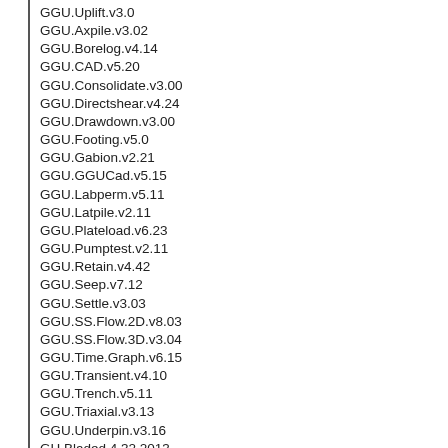GGU.Uplift.v3.0
GGU.Axpile.v3.02
GGU.Borelog.v4.14
GGU.CAD.v5.20
GGU.Consolidate.v3.00
GGU.Directshear.v4.24
GGU.Drawdown.v3.00
GGU.Footing.v5.0
GGU.Gabion.v2.21
GGU.GGUCad.v5.15
GGU.Labperm.v5.11
GGU.Latpile.v2.11
GGU.Plateload.v6.23
GGU.Pumptest.v2.11
GGU.Retain.v4.42
GGU.Seep.v7.12
GGU.Settle.v3.03
GGU.SS.Flow.2D.v8.03
GGU.SS.Flow.3D.v3.04
GGU.Time.Graph.v6.15
GGU.Transient.v4.10
GGU.Trench.v5.11
GGU.Triaxial.v3.13
GGU.Underpin.v3.16
GH.Bladed.4.32.2013
Gibbscam.2016.V11.2.16.0.Win64
GID.Professional.v11.1.8d.Win32.64
GID.v8.0.9.Linux64
Gijima.mineCAD.2.2.1840
GiliSoft.RAMDisk.v5.1